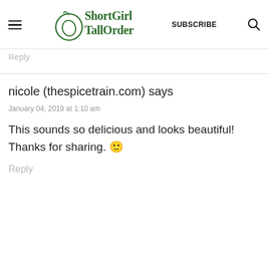ShortGirl TallOrder | SUBSCRIBE
Reply
nicole (thespicetrain.com) says
January 04, 2019 at 1:10 am
This sounds so delicious and looks beautiful! Thanks for sharing. 🙂
Reply